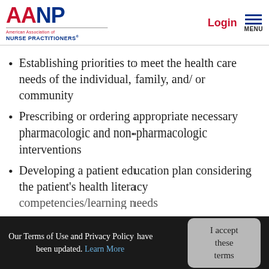AANP — American Association of Nurse Practitioners — Login | Menu
Establishing priorities to meet the health care needs of the individual, family, and/ or community
Prescribing or ordering appropriate necessary pharmacologic and non-pharmacologic interventions
Developing a patient education plan considering the patient's health literacy competencies/learning needs
Our Terms of Use and Privacy Policy have been updated. Learn More — I accept these terms